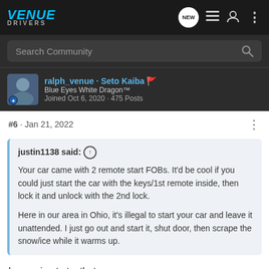VENUE DRIVERS
Search Community
ralph_venue · Seto Kaiba
Blue Eyes White Dragon™
Joined Oct 6, 2020 · 475 Posts
#6 · Jan 21, 2022
justin1138 said: ↑
Your car came with 2 remote start FOBs. It'd be cool if you could just start the car with the keys/1st remote inside, then lock it and unlock with the 2nd lock.

Here in our area in Ohio, it's illegal to start your car and leave it unattended. I just go out and start it, shut door, then scrape the snow/ice while it warms up.
I am going to try that.